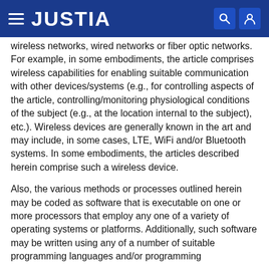JUSTIA
wireless networks, wired networks or fiber optic networks. For example, in some embodiments, the article comprises wireless capabilities for enabling suitable communication with other devices/systems (e.g., for controlling aspects of the article, controlling/monitoring physiological conditions of the subject (e.g., at the location internal to the subject), etc.). Wireless devices are generally known in the art and may include, in some cases, LTE, WiFi and/or Bluetooth systems. In some embodiments, the articles described herein comprise such a wireless device.
Also, the various methods or processes outlined herein may be coded as software that is executable on one or more processors that employ any one of a variety of operating systems or platforms. Additionally, such software may be written using any of a number of suitable programming languages and/or programming